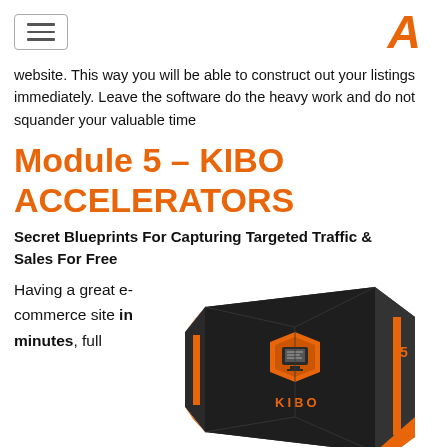[hamburger menu icon] [A logo]
website. This way you will be able to construct out your listings immediately. Leave the software do the heavy work and do not squander your valuable time
Module 5 – KIBO ACCELERATORS
Secret Blueprints For Capturing Targeted Traffic & Sales For Free
Having a great e-commerce site in minutes, full
[Figure (photo): 3D product box image with dark geometric design, orange accents, and KIBO branding with a computer icon]